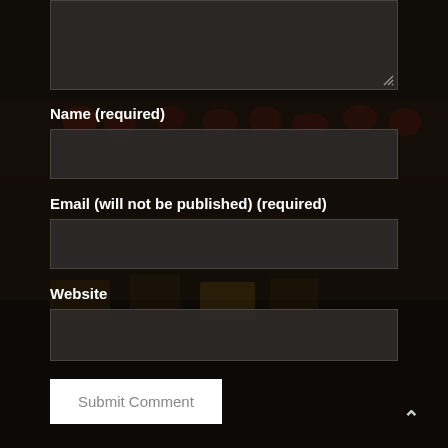[Figure (screenshot): Dark background web form with blurred food store/restaurant background image visible behind semi-transparent overlay. Shows a comment form with textarea at top, name, email, and website fields, and a submit button.]
Name (required)
Email (will not be published) (required)
Website
Submit Comment